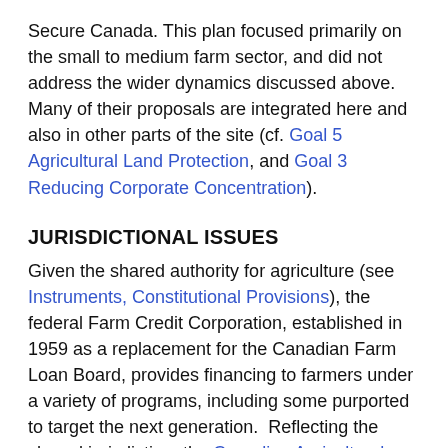Secure Canada. This plan focused primarily on the small to medium farm sector, and did not address the wider dynamics discussed above.  Many of their proposals are integrated here and also in other parts of the site (cf. Goal 5 Agricultural Land Protection, and Goal 3 Reducing Corporate Concentration).
JURISDICTIONAL ISSUES
Given the shared authority for agriculture (see Instruments, Constitutional Provisions), the federal Farm Credit Corporation, established in 1959 as a replacement for the Canadian Farm Loan Board, provides financing to farmers under a variety of programs, including some purported to target the next generation.  Reflecting the shared jurisdiction, the Canadian Agricultural Partnerships (Agricultural Policy Framework) also has some cost-shared programming